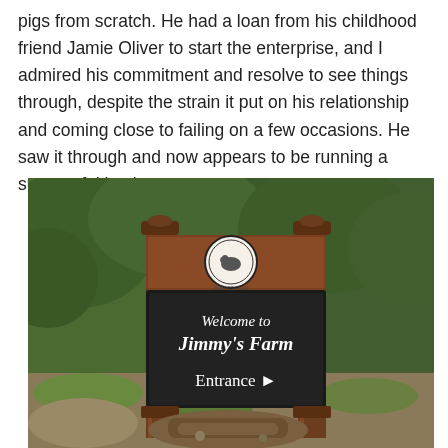pigs from scratch. He had a loan from his childhood friend Jamie Oliver to start the enterprise, and I admired his commitment and resolve to see things through, despite the strain it put on his relationship and coming close to failing on a few occasions. He saw it through and now appears to be running a successful business.
[Figure (photo): A wooden farm sign surrounded by green bushes and trees. The sign has a circular logo at the top and a dark chalkboard-style panel reading 'Welcome to Jimmy's Farm' and 'Entrance ►' in white text.]